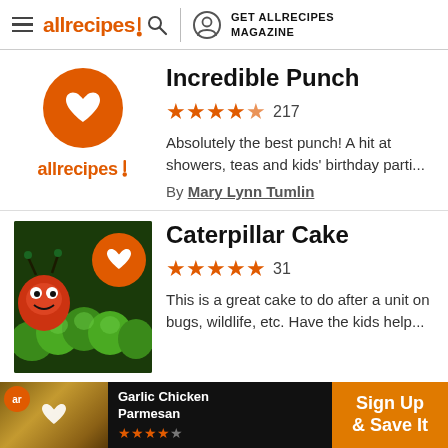allrecipes | GET ALLRECIPES MAGAZINE
[Figure (logo): Allrecipes orange save circle with heart icon and allrecipes logo text below]
Incredible Punch
★★★★½ 217
Absolutely the best punch! A hit at showers, teas and kids' birthday parti...
By Mary Lynn Tumlin
[Figure (photo): Photo of a caterpillar cake made from green frosted cake balls with an orange and red caterpillar head figure, with an orange save-heart badge overlay]
Caterpillar Cake
★★★★★ 31
This is a great cake to do after a unit on bugs, wildlife, etc. Have the kids help...
[Figure (screenshot): Ad banner: Garlic Chicken Parmesan recipe ad with Sign Up & Save It CTA button]